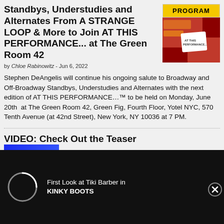Standbys, Understudies and Alternates From A STRANGE LOOP & More to Join AT THIS PERFORMANCE... at The Green Room 42
[Figure (photo): Yellow 'PROGRAM' label above a red promotional image showing an 'AT THIS PERFORMANCE...' placard]
by Chloe Rabinowitz - Jun 6, 2022
Stephen DeAngelis will continue his ongoing salute to Broadway and Off-Broadway Standbys, Understudies and Alternates with the next edition of AT THIS PERFORMANCE…™ to be held on Monday, June 20th at The Green Room 42, Green Fig, Fourth Floor, Yotel NYC, 570 Tenth Avenue (at 42nd Street), New York, NY 10036 at 7 PM.
VIDEO: Check Out the Teaser
[Figure (screenshot): Ad overlay: dark background with spinning loading circle and text 'First Look at Tiki Barber in KINKY BOOTS' with close button]